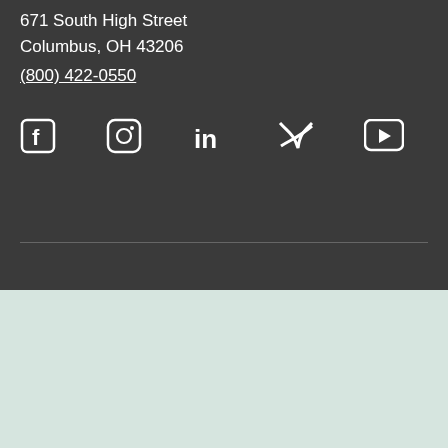671 South High Street
Columbus, OH 43206
(800) 422-0550
[Figure (infographic): Social media icons: Facebook, Instagram, LinkedIn, Twitter/X, YouTube]
Your privacy is important to us. We use cookies to enhance your site experience. Check out our privacy policy for more details.
Close